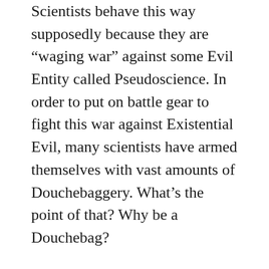Scientists behave this way supposedly because they are “waging war” against some Evil Entity called Pseudoscience. In order to put on battle gear to fight this war against Existential Evil, many scientists have armed themselves with vast amounts of Douchebaggery. What’s the point of that? Why be a Douchebag?
Yet when it comes to Fringe Science (a valid subfield of science by the way) we see scientific Assholery around the globe, from sea to scientific sea, from snide lab workers to snarling university professors to sneering lecture circuit celebrities. I am having a hard time understanding this. This war against the Evil of Pseudoscience is so important that in order to fight it, scientists must act like the